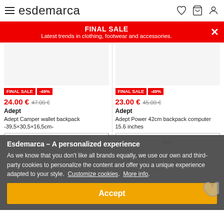esdemarca
FINAL SALE
Latest trends in clothing, footwear and accessories.
FINAL SALE -49%
24.00 € 47.00 €
Adept
Adept Camper wallet backpack -39,5×30,5×16,5cm-
FINAL SALE -49%
23.00 € 45.00 €
Adept
Adept Power 42cm backpack computer 15.6 inches
Esdemarca – A personalized experience
As we know that you don't like all brands equally, we use our own and third-party cookies to personalize the content and offer you a unique experience adapted to your style. Customize cookies. More info.
Accept